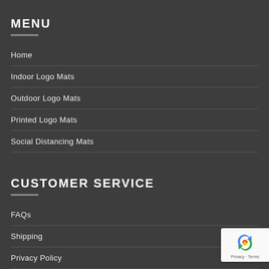MENU
Home
Indoor Logo Mats
Outdoor Logo Mats
Printed Logo Mats
Social Distancing Mats
CUSTOMER SERVICE
FAQs
Shipping
Privacy Policy
Contact Us
[Figure (logo): reCAPTCHA logo badge with Privacy and Terms links]